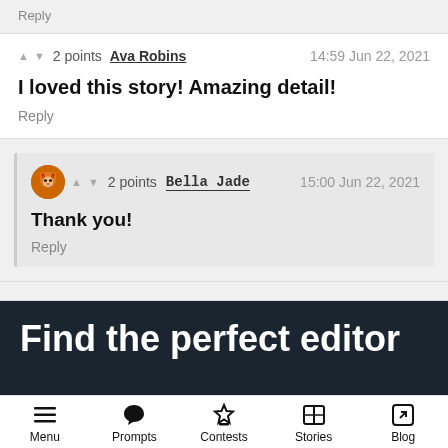Reply
▲ ▼ 2 points Ava Robins  14:59 Jun 22, 2021
I loved this story! Amazing detail!
Reply
[Figure (illustration): User avatar icon showing an orange cartoon fox/animal character]
▲ ▼ 2 points Bella Jade  15:00 Jun 22, 2021
Thank you!
Reply
Find the perfect editor
Menu  Prompts  Contests  Stories  Blog